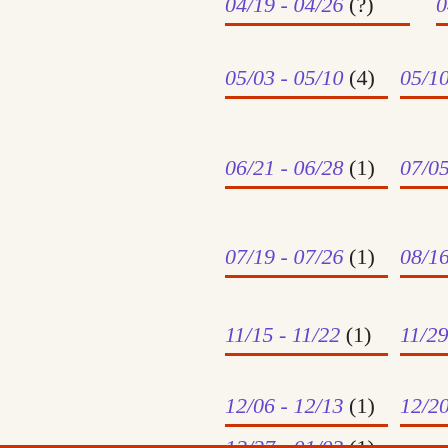04/19 - 04/26 (?)
04/26 - 05/03 (5)
05/03 - 05/10 (4)
05/10 - 05/17 (2)
06/21 - 06/28 (1)
07/05 - 07/12 (1)
07/19 - 07/26 (1)
08/16 - 08/23 (1)
11/15 - 11/22 (1)
11/29 - 12/06 (2)
12/06 - 12/13 (1)
12/20 - 12/27 (2)
12/27 - 01/03 (1)